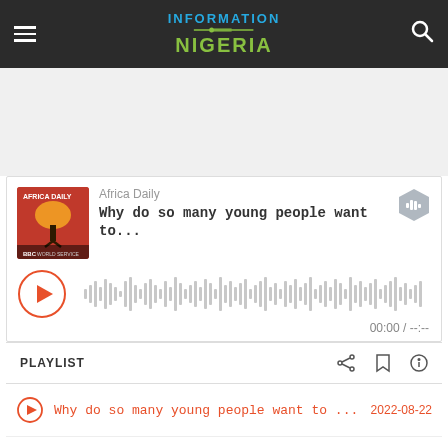INFORMATION NIGERIA
[Figure (screenshot): Audio podcast player widget for 'Africa Daily' BBC World Service podcast, showing episode 'Why do so many young people want to...' with waveform, play button, playlist items]
Africa Daily
Why do so many young people want to...
00:00 / --:--
PLAYLIST
Why do so many young people want to ... 2022-08-22
Can Sierra Leone's new land laws end th... 2022-08-19